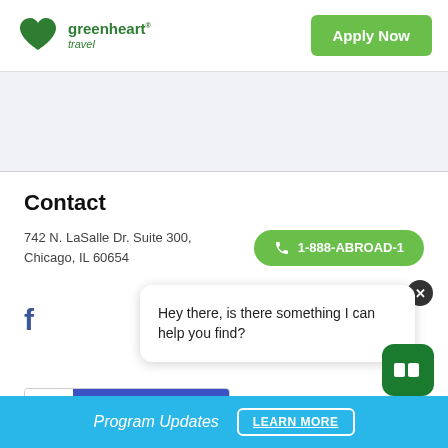[Figure (logo): Greenheart Travel logo with green heart icon and brand name]
Apply Now
Contact
742 N. LaSalle Dr. Suite 300, Chicago, IL 60654
1-888-ABROAD-1
Hey there, is there something I can help you find?
92% Recommended on GO Overseas
Program Updates
LEARN MORE